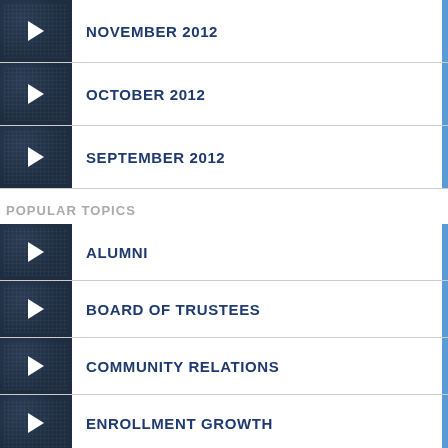NOVEMBER 2012
OCTOBER 2012
SEPTEMBER 2012
POPULAR TOPICS
ALUMNI
BOARD OF TRUSTEES
COMMUNITY RELATIONS
ENROLLMENT GROWTH
FINE ARTS
FOOTBALL